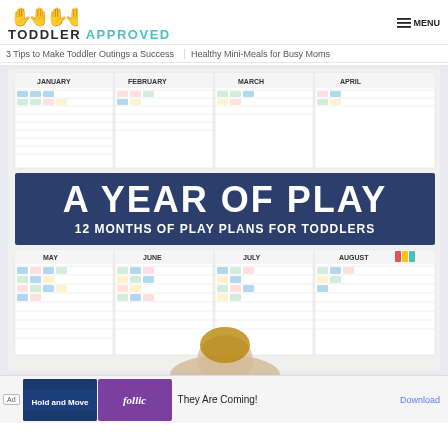TODDLER APPROVED — MENU
3 Tips to Make Toddler Outings a Success
Healthy Mini-Meals for Busy Moms
[Figure (photo): A Year of Play — 12 Months of Play Plans for Toddlers product image showing monthly calendar play plans for January through August with a child visible at the bottom]
[Figure (screenshot): Advertisement banner at the bottom: Ad label, game screenshot thumbnail, Follic app icon in purple, text 'They Are Coming!', and a Download button link]